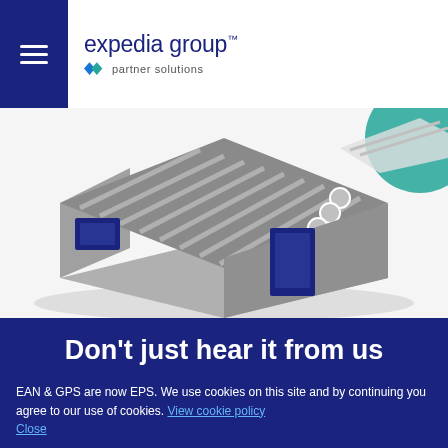expedia group partner solutions
[Figure (illustration): Isometric illustration of a log cabin style building with grey striped roof, blue windows and blue door, on a grey platform with teal circle element in background]
Don't just hear it from us
EAN & GPS are now EPS. We use cookies on this site and by continuing you agree to our use of cookies. View cookie policy Close